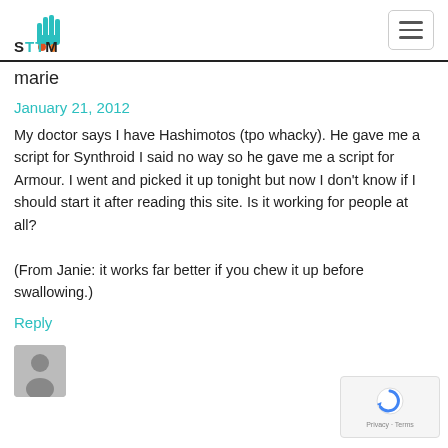STTM
marie
January 21, 2012
My doctor says I have Hashimotos (tpo whacky). He gave me a script for Synthroid I said no way so he gave me a script for Armour. I went and picked it up tonight but now I don't know if I should start it after reading this site. Is it working for people at all?

(From Janie: it works far better if you chew it up before swallowing.)
Reply
[Figure (photo): User avatar placeholder icon (grey silhouette person on grey background)]